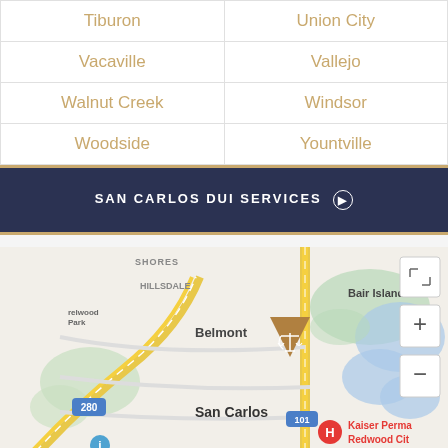| Tiburon | Union City |
| Vacaville | Vallejo |
| Walnut Creek | Windsor |
| Woodside | Yountville |
SAN CARLOS DUI SERVICES >
[Figure (map): Google Maps view centered on San Carlos, CA showing Belmont, Hillsdale, Bair Island, highway 280 and 101, Kaiser Permanente Redwood City marker, and a law scales icon marker over San Carlos.]
Call Now